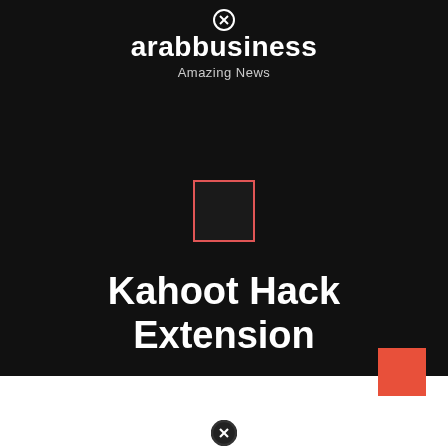arabbusiness
Amazing News
[Figure (other): Broken image placeholder with salmon/red border outline, dark interior, centered on dark background]
Kahoot Hack Extension
[Figure (other): Orange/salmon filled square decorative element in bottom-right corner]
[Figure (other): Close/cancel circle icon at bottom center on white section]